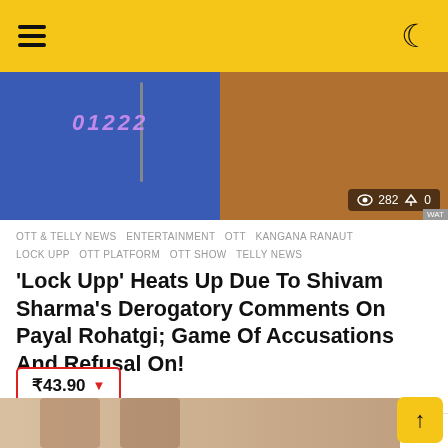Navigation bar with hamburger menu and dark mode toggle
[Figure (photo): Hero image showing two people, one in a blue jacket with text and another in an orange outfit. Overlay shows 282 views and 0 upvotes.]
OTT & TELLY NEWS  ENTERTAINMENT  OTT  KANGANA RANAUT  LOCK UPP  OTT PLATFORM  OTT SHOW  TELLY NEWS
'Lock Upp' Heats Up Due To Shivam Sharma's Derogatory Comments On Payal Rohatgi; Game Of Accusations And Refusal On!
₹43.90 ▼
by Varsha Mehata
MORE FROM: DIGITAL
[Figure (photo): Bottom strip showing partial image of people's faces]